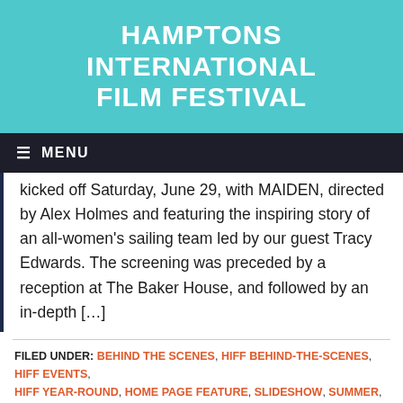[Figure (logo): Hamptons International Film Festival logo on teal background]
MENU
kicked off Saturday, June 29, with MAIDEN, directed by Alex Holmes and featuring the inspiring story of an all-women's sailing team led by our guest Tracy Edwards. The screening was preceded by a reception at The Baker House, and followed by an in-depth [...]
FILED UNDER: BEHIND THE SCENES, HIFF BEHIND-THE-SCENES, HIFF EVENTS, HIFF YEAR-ROUND, HOME PAGE FEATURE, SLIDESHOW, SUMMER, SUMMERDOCS
TAGGED WITH: ALEC BALDWIN, ALEX HOLMES, DAVID NUGENT, GUILD HALL, MAIDEN, SAILING, SUMMERDOCS, TRACY EDWARDS